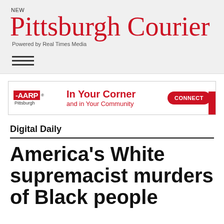NEW Pittsburgh Courier
Powered by Real Times Media
[Figure (other): Hamburger menu icon with three horizontal lines]
[Figure (other): AARP Pittsburgh advertisement banner: In Your Corner and in Your Community. CONNECT button.]
Digital Daily
America's White supremacist murders of Black people